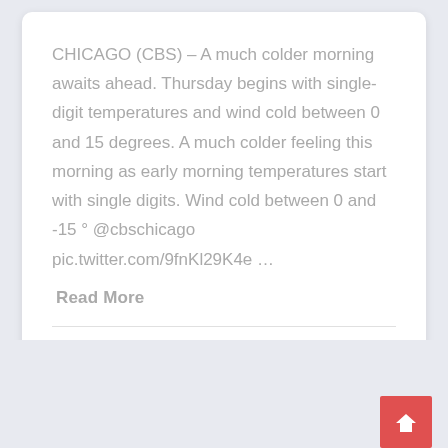CHICAGO (CBS) – A much colder morning awaits ahead. Thursday begins with single-digit temperatures and wind cold between 0 and 15 degrees. A much colder feeling this morning as early morning temperatures start with single digits. Wind cold between 0 and -15 ° @cbschicago pic.twitter.com/9fnKl29K4e …
Read More
Editorial Staff
No Comments